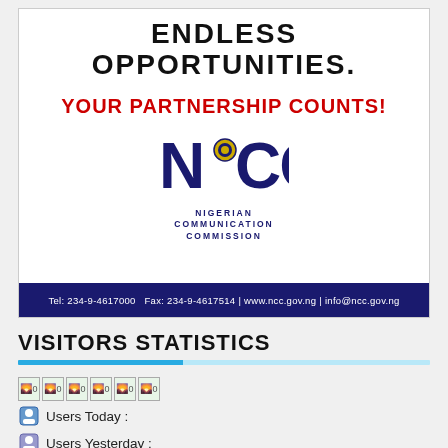[Figure (logo): NCC (Nigerian Communication Commission) advertisement box with text 'ENDLESS OPPORTUNITIES.', 'YOUR PARTNERSHIP COUNTS!', NCC logo, and contact footer bar with Tel: 234-9-4617000 Fax: 234-9-4617514 | www.ncc.gov.ng | info@ncc.gov.ng]
VISITORS STATISTICS
0 0 0 0 0 0
Users Today :
Users Yesterday :
This Month :
This Year :